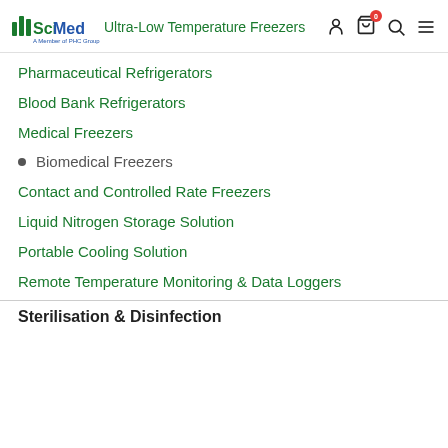SciMed – A Member of PHC Group — Ultra-Low Temperature Freezers
Pharmaceutical Refrigerators
Blood Bank Refrigerators
Medical Freezers
Biomedical Freezers
Contact and Controlled Rate Freezers
Liquid Nitrogen Storage Solution
Portable Cooling Solution
Remote Temperature Monitoring & Data Loggers
Sterilisation & Disinfection